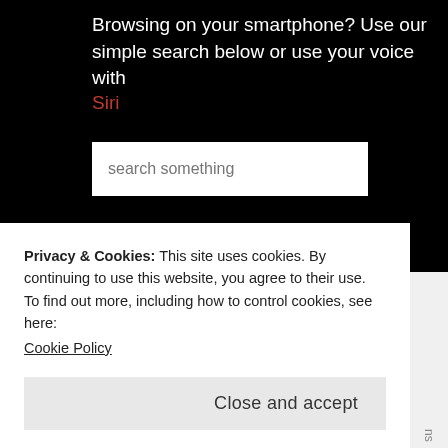Browsing on your smartphone? Use our simple search below or use your voice with Siri
[Figure (screenshot): Search input box with placeholder text 'search something' on black background]
ABOUT
Free platform to locate and explore
Privacy & Cookies: This site uses cookies. By continuing to use this website, you agree to their use.
To find out more, including how to control cookies, see here:
Cookie Policy
Close and accept